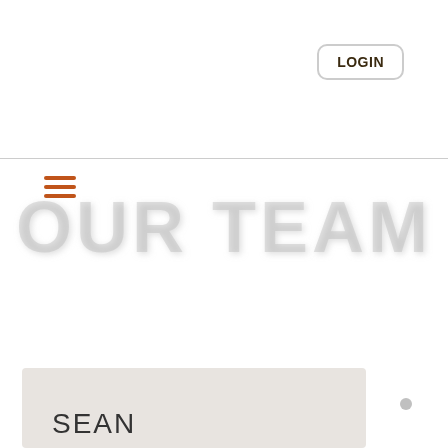LOGIN
[Figure (other): Hamburger menu icon with three horizontal orange lines]
OUR TEAM
SEAN